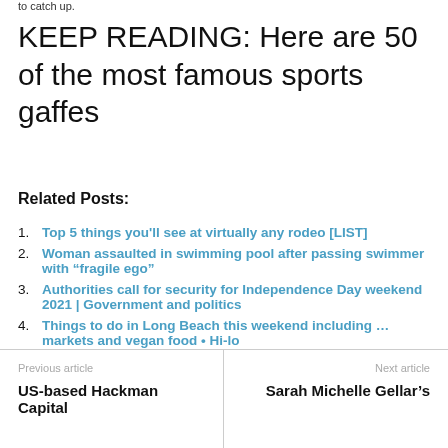to catch up.
KEEP READING: Here are 50 of the most famous sports gaffes
Related Posts:
Top 5 things you'll see at virtually any rodeo [LIST]
Woman assaulted in swimming pool after passing swimmer with “fragile ego”
Authorities call for security for Independence Day weekend 2021 | Government and politics
Things to do in Long Beach this weekend including … markets and vegan food • Hi-lo
Previous article
US-based Hackman Capital
Next article
Sarah Michelle Gellar’s